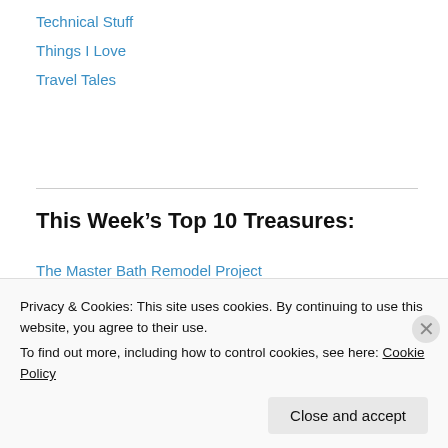Technical Stuff
Things I Love
Travel Tales
This Week's Top 10 Treasures:
The Master Bath Remodel Project
So Simple: Lemon Sour Cream Pie
Vintage Vanilla Wafer Cake
Aunt Teenie's 14-Day Sweet Pickles
Let's Play a Game of 'Deserted Island'
Day of the Dead Papier-mâché
Privacy & Cookies: This site uses cookies. By continuing to use this website, you agree to their use.
To find out more, including how to control cookies, see here: Cookie Policy
Close and accept